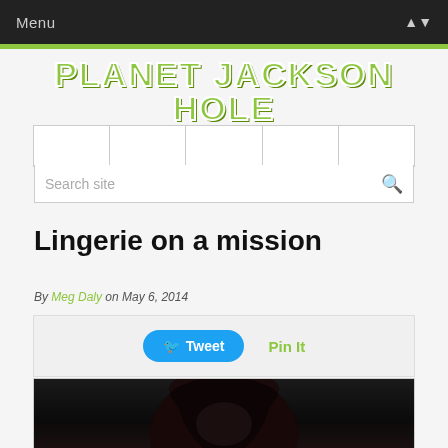Menu
PLANET JACKSON HOLE
[Figure (screenshot): Website navigation tabs and search bar]
Lingerie on a mission
By Meg Daly on May 6, 2014
[Figure (screenshot): Social sharing buttons: Tweet and Pin It]
[Figure (photo): Dark photo of a person with dark hair, partially visible]